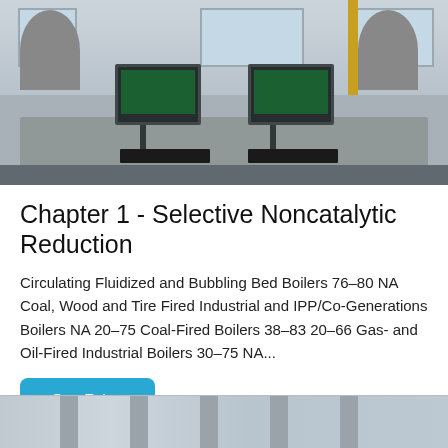[Figure (photo): Industrial laboratory room with two computer monitors on a desk showing green control interfaces, keyboards, and large industrial machinery/boilers visible in the background.]
Chapter 1 - Selective Noncatalytic Reduction
Circulating Fluidized and Bubbling Bed Boilers 76–80 NA Coal, Wood and Tire Fired Industrial and IPP/Co-Generations Boilers NA 20–75 Coal-Fired Boilers 38–83 20–66 Gas- and Oil-Fired Industrial Boilers 30–75 NA...
Get Price
[Figure (photo): Partial view of industrial machinery or boiler components, bottom of page.]